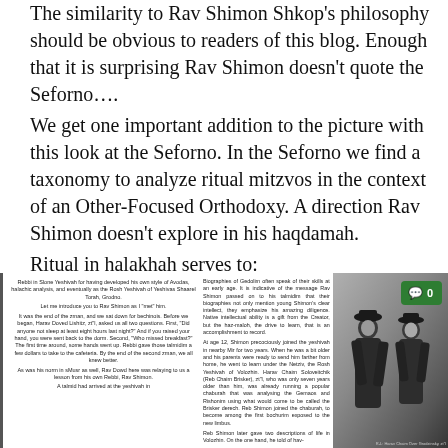The similarity to Rav Shimon Shkop's philosophy should be obvious to readers of this blog. Enough that it is surprising Rav Shimon doesn't quote the Seforno….
We get one important addition to the picture with this look at the Seforno. In the Seforno we find a taxonomy to analyze ritual mitzvos in the context of an Other-Focused Orthodoxy. A direction Rav Shimon doesn't explore in his haqdamah.
Ritual in halakhah serves to:
[Figure (photo): Scanned page with two-column text (left column with centered text about Rav Shimon at a yeshiva, right column with biographical text about Shimon's early life), alongside a black-and-white photograph of two men in traditional Jewish attire, with a green comment badge showing '0' in the top right corner of the photo.]